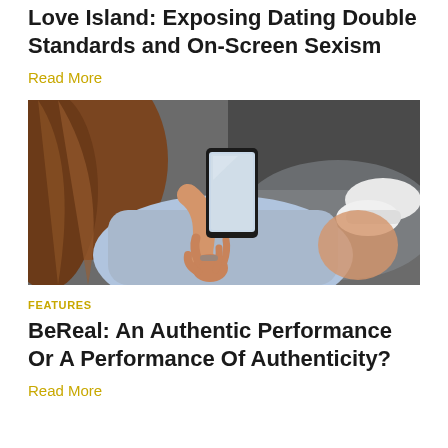Love Island: Exposing Dating Double Standards and On-Screen Sexism
Read More
[Figure (photo): A person sitting down holding a smartphone, showing the back of their head with brown hair, wearing a light blue outfit, with white sneakers visible in the background. The image is taken from above at an angle.]
FEATURES
BeReal: An Authentic Performance Or A Performance Of Authenticity?
Read More